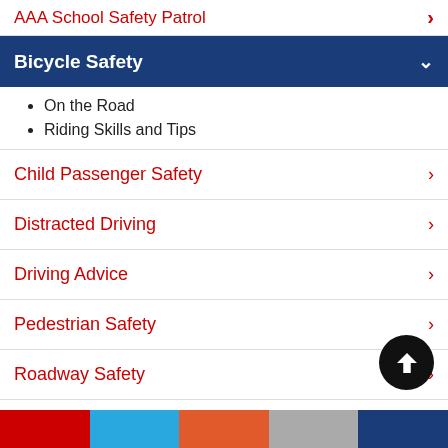AAA School Safety Patrol
Bicycle Safety
On the Road
Riding Skills and Tips
Child Passenger Safety
Distracted Driving
Driving Advice
Pedestrian Safety
Roadway Safety
Senior Driver Safety & Mobility
Substance Impaired Driving
Teen Driver Safety